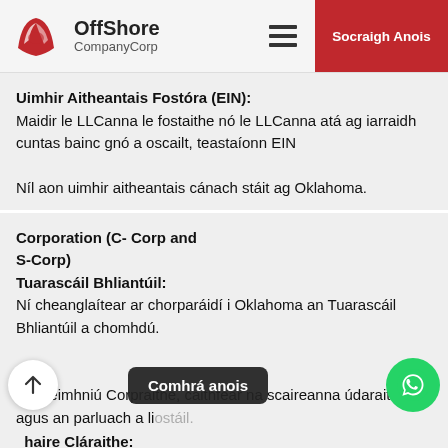OffShore CompanyCorp | Socraigh Anois
Uimhir Aitheantais Fostóra (EIN):
Maidir le LLCanna le fostaithe nó le LLCanna atá ag iarraidh cuntas bainc gnó a oscailt, teastaíonn EIN

Níl aon uimhir aitheantais cánach stáit ag Oklahoma.
Corporation (C- Corp and S-Corp)
Tuarascáil Bhliantúil:
Ní cheanglaítear ar chorparáidí i Oklahoma an Tuarascáil Bhliantúil a chomhdú.
Stoc:
Sa Deimhniú Corpraithe, caithfear na scaireanna údaraithe agus an parluach a liostáil.
Oifigaire Cláraithe:
Is gá mór do chorparáidí ainm agus seoladh fisiceach an ...